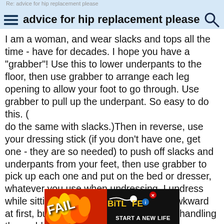Re: advice for hip replacement please
advice for hip replacement please
I am a woman, and wear slacks and tops all the time - have for decades. I hope you have a "grabber"! Use this to lower underpants to the floor, then use grabber to arrange each leg opening to allow your foot to go through. Use grabber to pull up the underpant. So easy to do this. ( do the same with slacks.)Then in reverse, use your dressing stick (if you don't have one, get one - they are so needed) to push off slacks and underpants from your feet, then use grabber to pick up each one and put on the bed or dresser, whatever you use when undressing. I undress while sitting on the bed. All this will be awkward at first, but you will soon be an expert at handling the grabber and dressing stick. Both are essential to dress and undress yourself without help after hip surgery.
[Figure (screenshot): BitLife advertisement banner with 'FAIL' text, cartoon character, flames, and 'START A NEW LIFE' tagline]